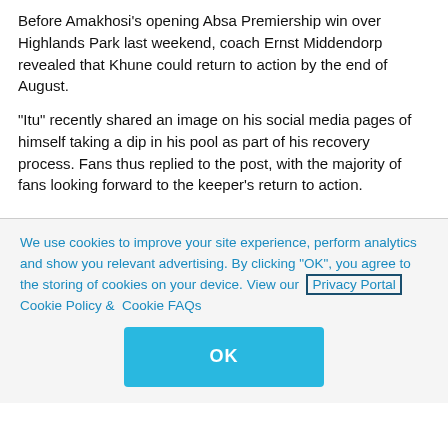Before Amakhosi's opening Absa Premiership win over Highlands Park last weekend, coach Ernst Middendorp revealed that Khune could return to action by the end of August.
"Itu" recently shared an image on his social media pages of himself taking a dip in his pool as part of his recovery process. Fans thus replied to the post, with the majority of fans looking forward to the keeper's return to action.
We use cookies to improve your site experience, perform analytics and show you relevant advertising. By clicking "OK", you agree to the storing of cookies on your device. View our Privacy Portal Cookie Policy & Cookie FAQs